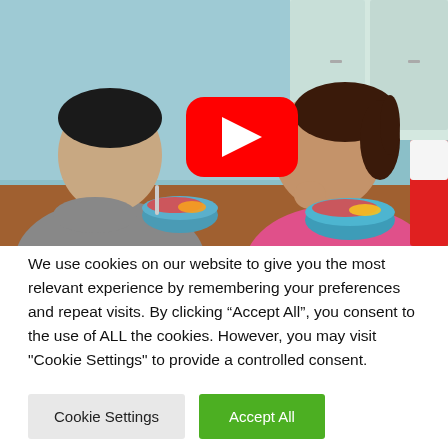[Figure (photo): Two people (a man in a gray shirt and a woman in a pink long-sleeve top) sitting at a table eating from blue bowls, likely a food/cereal advertisement. A YouTube play button overlay is centered on the image.]
We use cookies on our website to give you the most relevant experience by remembering your preferences and repeat visits. By clicking “Accept All”, you consent to the use of ALL the cookies. However, you may visit "Cookie Settings" to provide a controlled consent.
Cookie Settings
Accept All